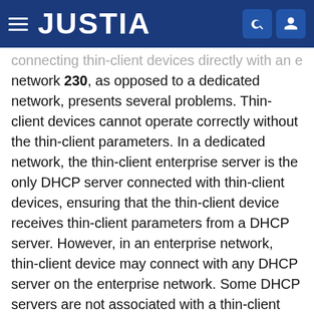JUSTIA
connecting thin-client devices directly with an enterprise network 230, as opposed to a dedicated network, presents several problems. Thin-client devices cannot operate correctly without the thin-client parameters. In a dedicated network, the thin-client enterprise server is the only DHCP server connected with thin-client devices, ensuring that the thin-client device receives thin-client parameters from a DHCP server. However, in an enterprise network, thin-client device may connect with any DHCP server on the enterprise network. Some DHCP servers are not associated with a thin-client enterprise server and will not include thin-client parameters in the appropriate vendor-specific tag. When a thin-client device contacts one of these DHCP servers, the thin-client device would receive network configuration parameters but would not receive any thin-client parameters. Moreover, in some enterprise network